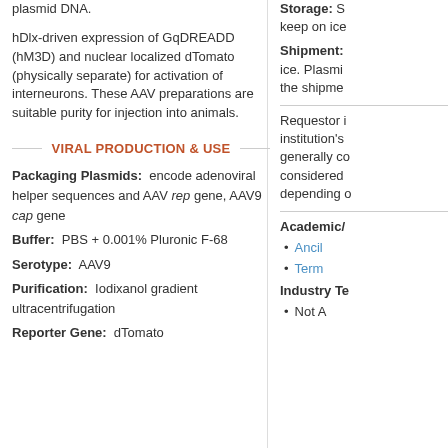plasmid DNA.
hDlx-driven expression of GqDREADD (hM3D) and nuclear localized dTomato (physically separate) for activation of interneurons. These AAV preparations are suitable purity for injection into animals.
VIRAL PRODUCTION & USE
Packaging Plasmids: encode adenoviral helper sequences and AAV rep gene, AAV9 cap gene
Buffer: PBS + 0.001% Pluronic F-68
Serotype: AAV9
Purification: Iodixanol gradient ultracentrifugation
Reporter Gene: dTomato
Storage: S keep on ice
Shipment: ice. Plasmid the shipme
Requestor i institution's generally co considered depending o
Academic/
Ancil
Term
Industry Te
Not A